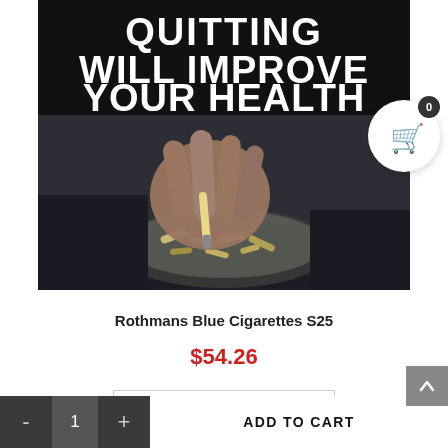[Figure (photo): Black and white warning label text 'QUITTING WILL IMPROVE YOUR HEALTH' over a photo of a hand stubbing out a cigarette in an ashtray full of cigarette butts. A shopping cart icon with badge showing '0' appears in the top right corner.]
Rothmans Blue Cigarettes S25
$54.26
Add to cart
- 1 + ADD TO CART